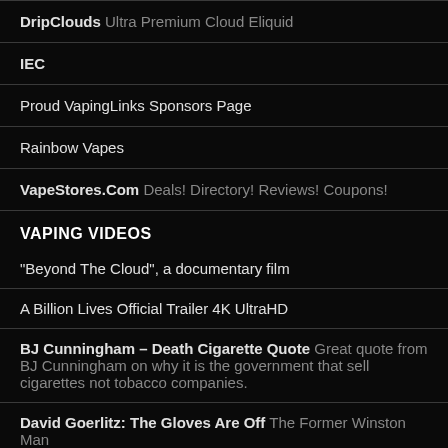DripClouds Ultra Premium Cloud Eliquid
IEC
Proud VapingLinks Sponsors Page
Rainbow Vapes
VapeStores.Com Deals! Directory! Reviews! Coupons!
VAPING VIDEOS
"Beyond The Cloud", a documentary film
A Billion Lives Official Trailer 4K UltraHD
BJ Cunningham – Death Cigarette Quote Great quote from BJ Cunningham on why it is the government that sell cigarettes not tobacco companies.
David Goerlitz: The Gloves Are Off The Former Winston Man